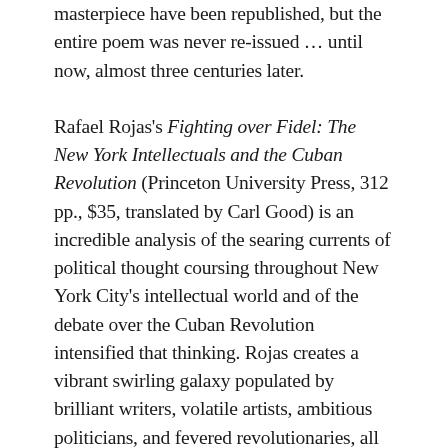masterpiece have been republished, but the entire poem was never re-issued … until now, almost three centuries later.
Rafael Rojas's Fighting over Fidel: The New York Intellectuals and the Cuban Revolution (Princeton University Press, 312 pp., $35, translated by Carl Good) is an incredible analysis of the searing currents of political thought coursing throughout New York City's intellectual world and of the debate over the Cuban Revolution intensified that thinking. Rojas creates a vibrant swirling galaxy populated by brilliant writers, volatile artists, ambitious politicians, and fevered revolutionaries, all fighting over the ideals and consequences of Cold War ideologies, nationalist dreams, and personal